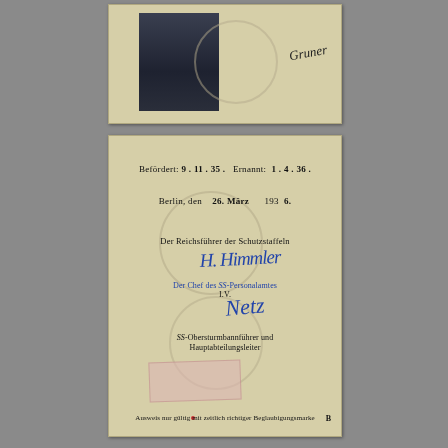[Figure (photo): Top portion of a German ID document showing a portrait photograph of a uniformed man with a handwritten signature to the right, on aged yellowish paper with a circular watermark stamp.]
[Figure (photo): Bottom portion of a German SS identity document (circa 1936) on aged yellowish paper with circular watermarks. Text reads: 'Befördert: 9.11.35. Ernannt: 1.4.36.' and 'Berlin, den 26. März 193 6.' followed by 'Der Reichsführer der Schutzstaffeln' with a handwritten signature (Himmler), then 'Der Chef des SS-Personalamtes I.V.' with another handwritten signature (Netz), then 'SS-Obersturmbannführer und Hauptabteilungsleiter', a red stamp box, and at the bottom 'Ausweis nur gültig mit zeitlich richtiger Beglaubigungssmarke B'.]